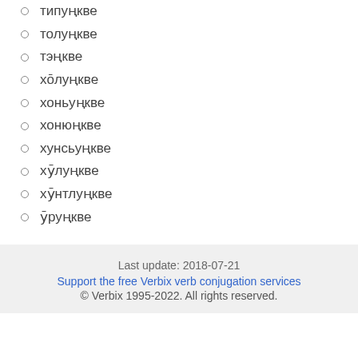типуңкве
толуңкве
тэңкве
хōлуңкве
хоньуңкве
хонюңкве
хунсьуңкве
хӯлуңкве
хӯнтлуңкве
ӯруңкве
Last update: 2018-07-21
Support the free Verbix verb conjugation services
© Verbix 1995-2022. All rights reserved.